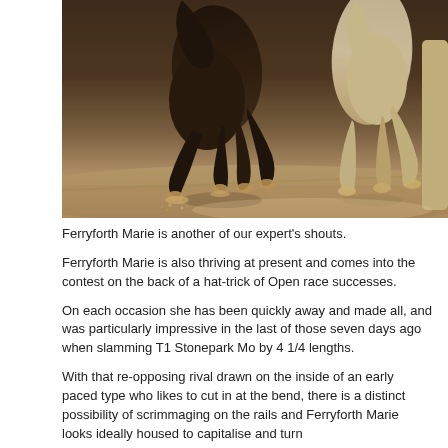[Figure (photo): Close-up photograph of greyhounds running, showing their legs and paws close to the ground, one dark/black dog on the left and a lighter dog on the right, with sandy/dirt track surface visible]
Ferryforth Marie is another of our expert's shouts.
Ferryforth Marie is also thriving at present and comes into the contest on the back of a hat-trick of Open race successes.
On each occasion she has been quickly away and made all, and was particularly impressive in the last of those seven days ago when slamming T1 Stonepark Mo by 4 1/4 lengths.
With that re-opposing rival drawn on the inside of an early paced type who likes to cut in at the bend, there is a distinct possibility of scrimmaging on the rails and Ferryforth Marie looks ideally housed to capitalise and turn